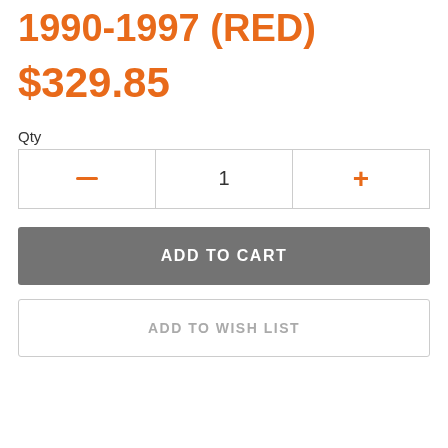1990-1997 (RED)
$329.85
Qty
− 1 +
ADD TO CART
ADD TO WISH LIST